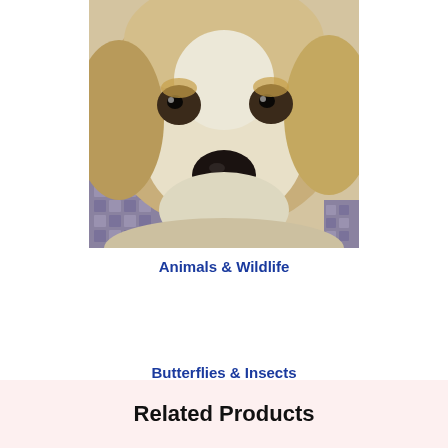[Figure (photo): Close-up photo of a golden retriever dog face looking at the camera, white and tan fur, black nose, resting on what appears to a grey woven blanket or cushion]
Animals & Wildlife
Butterflies & Insects
Related Products